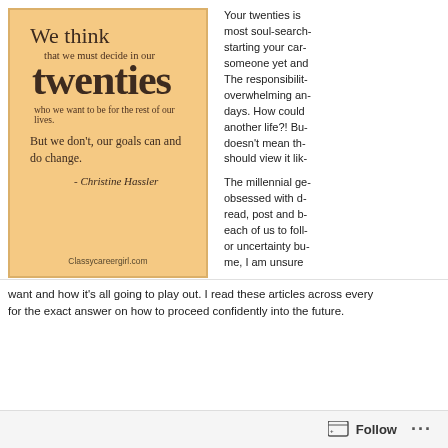[Figure (illustration): Quote image on peach/tan background reading: 'We think that we must decide in our twenties who we want to be for the rest of our lives. But we don't, our goals can and do change. - Christine Hassler' with Classycareergirl.com watermark]
Your twenties is most soul-searching starting your car someone yet and The responsibilities overwhelming and days. How could another life?! But doesn't mean the should view it lik
The millennial ge obsessed with d read, post and b each of us to foll or uncertainty bu me, I am unsure
want and how it's all going to play out. I read these articles across every for the exact answer on how to proceed confidently into the future.